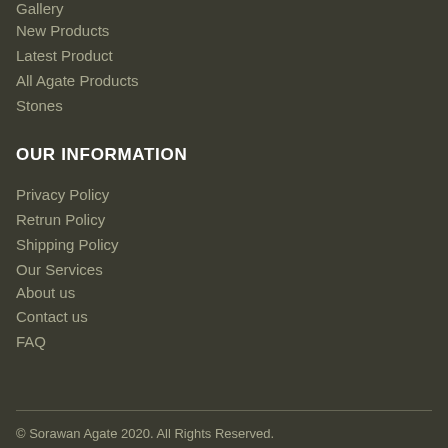Gallery
New Products
Latest Product
All Agate Products
Stones
OUR INFORMATION
Privacy Policy
Retrun Policy
Shipping Policy
Our Services
About us
Contact us
FAQ
© Sorawan Agate 2020. All Rights Reserved.